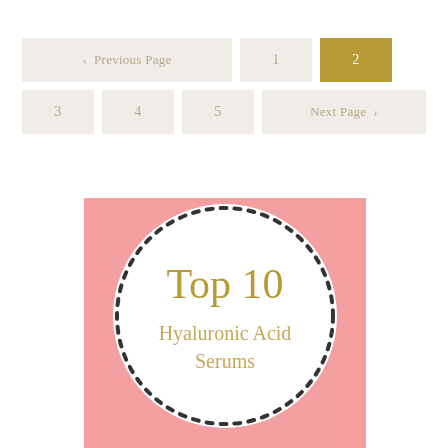< Previous Page  1  2  3  4  5  Next Page >
[Figure (illustration): A circular badge on a pink background with dotted border. Inside the white circle: 'Top 10 Hyaluronic Acid Serums' in gold text.]